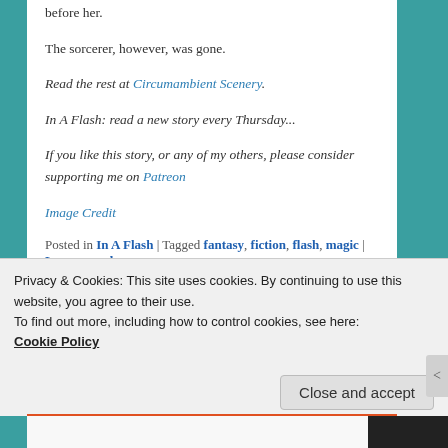before her.
The sorcerer, however, was gone.
Read the rest at Circumambient Scenery.
In A Flash: read a new story every Thursday...
If you like this story, or any of my others, please consider supporting me on Patreon
Image Credit
Posted in In A Flash | Tagged fantasy, fiction, flash, magic | Leave a reply
Privacy & Cookies: This site uses cookies. By continuing to use this website, you agree to their use. To find out more, including how to control cookies, see here: Cookie Policy